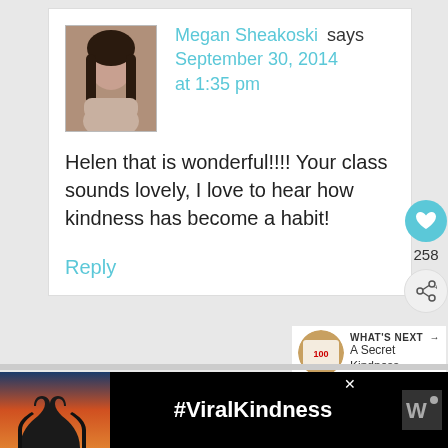Megan Sheakoski says September 30, 2014 at 1:35 pm
Helen that is wonderful!!!! Your class sounds lovely, I love to hear how kindness has become a habit!
Reply
258
WHAT'S NEXT → A Secret Kindness...
[Figure (screenshot): Ad banner with heart-hands silhouette image and #ViralKindness text on black background]